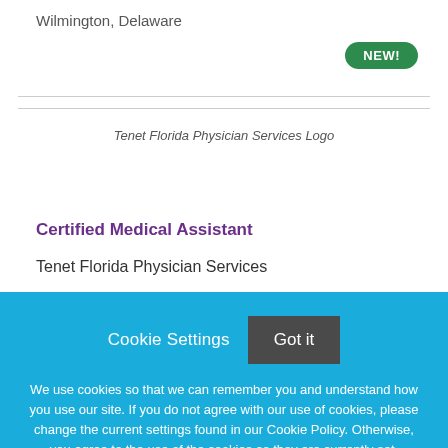Wilmington, Delaware
[Figure (logo): Tenet Florida Physician Services Logo]
Certified Medical Assistant
Tenet Florida Physician Services
Cookie Settings  Got it
We use cookies so that we can remember you and understand how you use our site. If you do not agree with our use of cookies, please change the current settings found in our Cookie Policy. Otherwise, you agree to the use of the cookies as they are currently set.